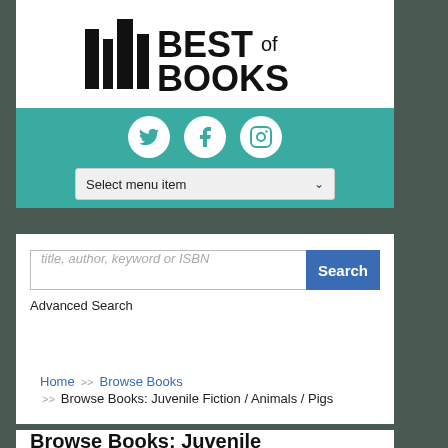[Figure (logo): Best of Books logo with bar/book spine icons and bold text reading BEST of BOOKS]
[Figure (infographic): Teal banner with three white circular social media icons (Twitter, Facebook, Instagram) and a dropdown menu labeled Select menu item]
[Figure (screenshot): Search bar with placeholder text title, author, keyword or ISBN and a blue Search button, with Advanced Search link below]
Home >> Browse Books >> Browse Books: Juvenile Fiction / Animals / Pigs
Browse Books: Juvenile